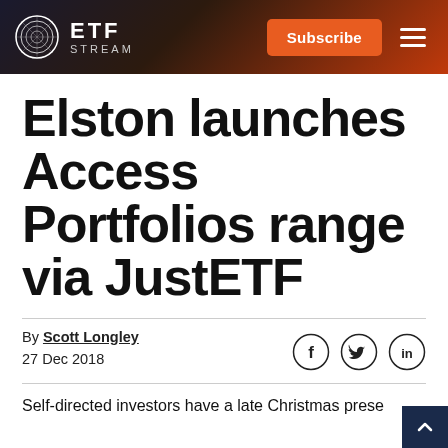ETF STREAM
Elston launches Access Portfolios range via JustETF
By Scott Longley
27 Dec 2018
Self-directed investors have a late Christmas prese…